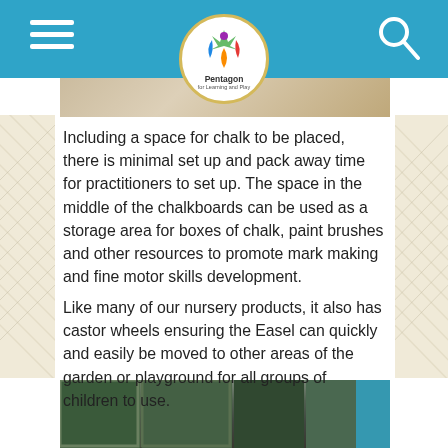Pentagon for Learning and Play
[Figure (photo): Top photo strip showing chalkboard or tile surface]
Including a space for chalk to be placed, there is minimal set up and pack away time for practitioners to set up. The space in the middle of the chalkboards can be used as a storage area for boxes of chalk, paint brushes and other resources to promote mark making and fine motor skills development.
Like many of our nursery products, it also has castor wheels ensuring the Easel can quickly and easily be moved to other areas of the garden or playground for all groups of children to use.
[Figure (photo): Bottom photo showing chalkboard easel in outdoor setting with brick wall background]